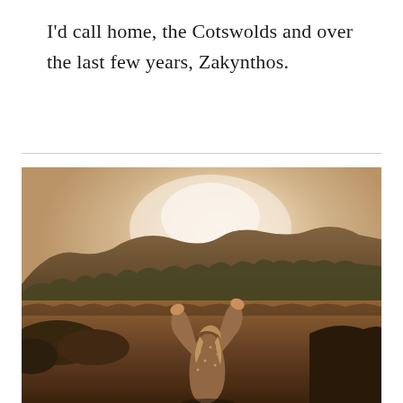I'd call home, the Cotswolds and over the last few years, Zakynthos.
[Figure (photo): A woman with long blonde hair stands with her back to the camera, arms raised above her head, in a golden-hour landscape with rocky hills and lush vegetation in the background. The scene has a warm, sun-drenched haze.]